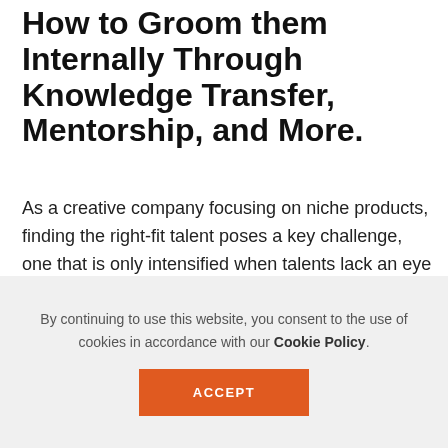How to Groom them Internally Through Knowledge Transfer, Mentorship, and More.
As a creative company focusing on niche products, finding the right-fit talent poses a key challenge, one that is only intensified when talents lack an eye for detail and critical thinking, shares Stephanie Sitt, Co-Founder and Group CEO of INMAGINE. In this interview, she details:
Why finding the right-fit talent is the #1 talent...
By continuing to use this website, you consent to the use of cookies in accordance with our Cookie Policy.
ACCEPT